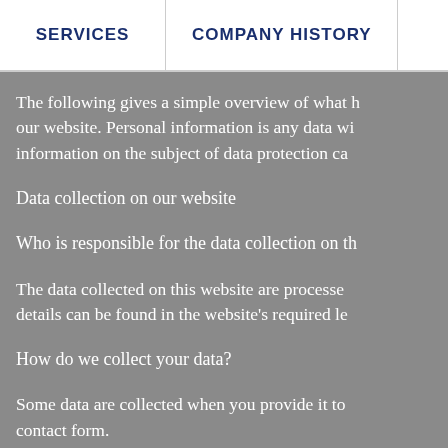SERVICES | COMPANY HISTORY
The following gives a simple overview of what happens to your personal data when you visit our website. Personal information is any data with which you could be personally identified. Detailed information on the subject of data protection can be found in our privacy policy found below.
Data collection on our website
Who is responsible for the data collection on this website?
The data collected on this website are processed by the website operator. The operator's contact details can be found in the website's required legal notice.
How do we collect your data?
Some data are collected when you provide it to us. This could, for example, be data you enter on a contact form.